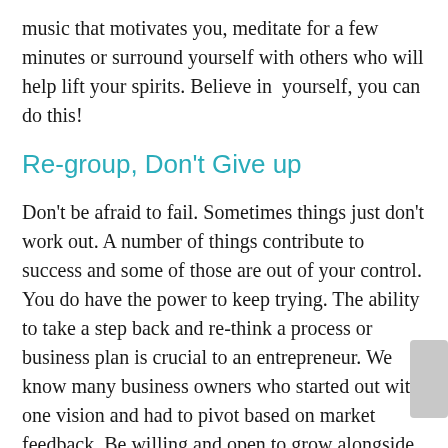music that motivates you, meditate for a few minutes or surround yourself with others who will help lift your spirits. Believe in  yourself, you can do this!
Re-group, Don't Give up
Don't be afraid to fail. Sometimes things just don't work out. A number of things contribute to success and some of those are out of your control. You do have the power to keep trying. The ability to take a step back and re-think a process or business plan is crucial to an entrepreneur. We know many business owners who started out with one vision and had to pivot based on market feedback. Be willing and open to grow alongside your business. Be so confident in your ability as an entrepreneur and leader that you are willing to make the